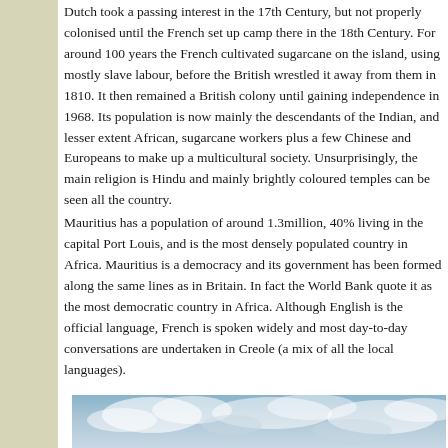Dutch took a passing interest in the 17th Century, but not properly colonised until the French set up camp there in the 18th Century. For around 100 years the French cultivated sugarcane on the island, using mostly slave labour, before the British wrestled it away from them in 1810. It then remained a British colony until gaining independence in 1968. Its population is now mainly the descendants of the Indian, and lesser extent African, sugarcane workers plus a few Chinese and Europeans to make up a multicultural society. Unsurprisingly, the main religion is Hindu and mainly brightly coloured temples can be seen all the country.
Mauritius has a population of around 1.3million, 40% living in the capital Port Louis, and is the most densely populated country in Africa. Mauritius is a democracy and its government has been formed along the same lines as in Britain. In fact the World Bank quote it as the most democratic country in Africa. Although English is the official language, French is spoken widely and most day-to-day conversations are undertaken in Creole (a mix of all the local languages).
The flag consists of four bands; red for the bloodshed during slavery times, blue for the Indian Ocean, yellow for the independence and bright future and green for the lush vegetation of the island.
[Figure (photo): Sky with clouds, partial view at bottom of page]